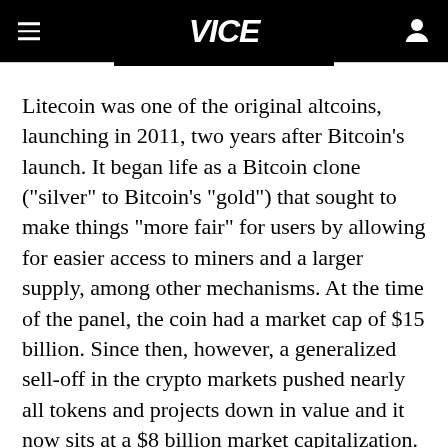VICE
Litecoin was one of the original altcoins, launching in 2011, two years after Bitcoin's launch. It began life as a Bitcoin clone ("silver" to Bitcoin's "gold") that sought to make things "more fair" for users by allowing for easier access to miners and a larger supply, among other mechanisms. At the time of the panel, the coin had a market cap of $15 billion. Since then, however, a generalized sell-off in the crypto markets pushed nearly all tokens and projects down in value and it now sits at a $8 billion market capitalization.